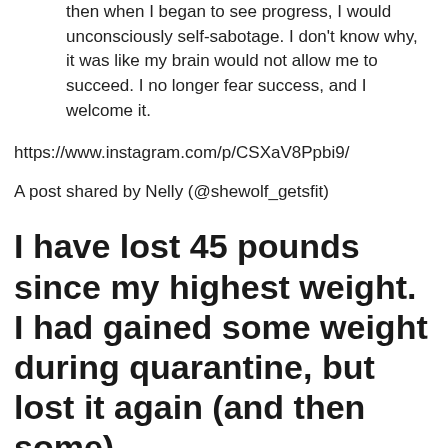then when I began to see progress, I would unconsciously self-sabotage. I don't know why, it was like my brain would not allow me to succeed. I no longer fear success, and I welcome it.
https://www.instagram.com/p/CSXaV8Ppbi9/
A post shared by Nelly (@shewolf_getsfit)
I have lost 45 pounds since my highest weight. I had gained some weight during quarantine, but lost it again (and then some).